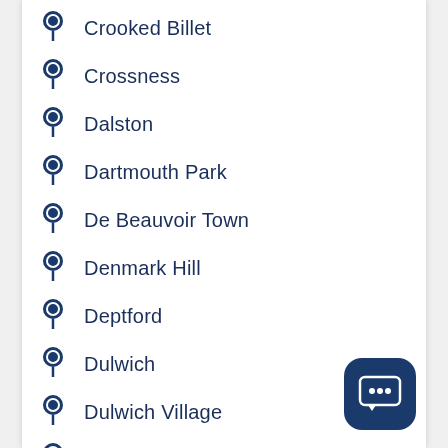Crooked Billet
Crossness
Dalston
Dartmouth Park
De Beauvoir Town
Denmark Hill
Deptford
Dulwich
Dulwich Village
Earls Court
Earlsfield
East Acton
[Figure (illustration): Chat/messaging button icon in dark navy blue rounded square]